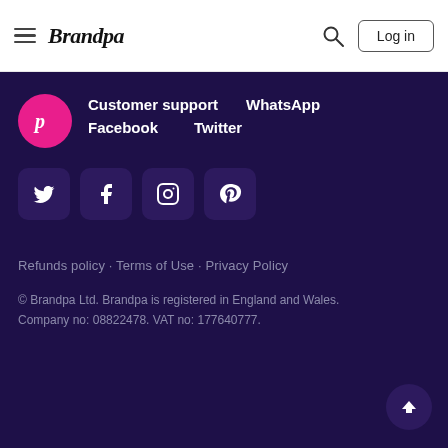Brandpa – Log in
Customer support  WhatsApp  Facebook  Twitter
[Figure (logo): Brandpa pink circular logo with stylized B/P letter]
[Figure (infographic): Social media icon buttons: Twitter, Facebook, Instagram, Pinterest]
Refunds policy · Terms of Use · Privacy Policy
© Brandpa Ltd. Brandpa is registered in England and Wales. Company no: 08822478. VAT no: 177640777.